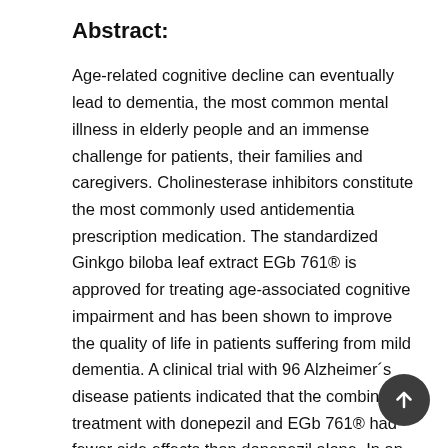Abstract:
Age-related cognitive decline can eventually lead to dementia, the most common mental illness in elderly people and an immense challenge for patients, their families and caregivers. Cholinesterase inhibitors constitute the most commonly used antidementia prescription medication. The standardized Ginkgo biloba leaf extract EGb 761® is approved for treating age-associated cognitive impairment and has been shown to improve the quality of life in patients suffering from mild dementia. A clinical trial with 96 Alzheimer´s disease patients indicated that the combined treatment with donepezil and EGb 761® had fewer side effects than donepezil alone. In an animal model of cognitive aging, we compared the effect of combined treatment with EGb 761® or donepezil monotherapy and vehicle. We compared the